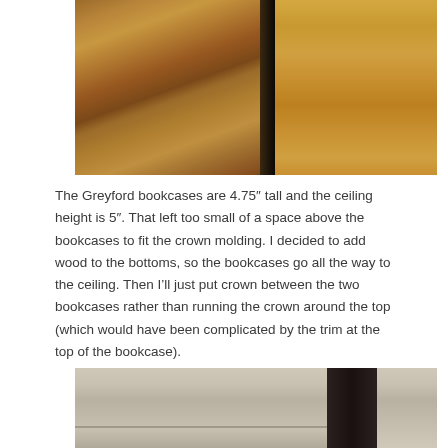[Figure (photo): Close-up photograph of wooden staircase steps with dark wood tones and oak grain, showing bookcase or shelving structure from above]
The Greyford bookcases are 4.75" tall and the ceiling height is 5". That left too small of a space above the bookcases to fit the crown molding. I decided to add wood to the bottoms, so the bookcases go all the way to the ceiling. Then I'll just put crown between the two bookcases rather than running the crown around the top (which would have been complicated by the trim at the top of the bookcase).
[Figure (photo): Close-up photograph of light-colored wood or MDF panel with a dark object (tool or bracket) visible in lower right area]